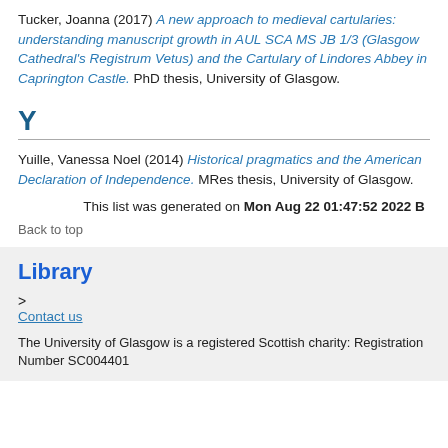Tucker, Joanna (2017) A new approach to medieval cartularies: understanding manuscript growth in AUL SCA MS JB 1/3 (Glasgow Cathedral's Registrum Vetus) and the Cartulary of Lindores Abbey in Caprington Castle. PhD thesis, University of Glasgow.
Y
Yuille, Vanessa Noel (2014) Historical pragmatics and the American Declaration of Independence. MRes thesis, University of Glasgow.
This list was generated on Mon Aug 22 01:47:52 2022 B
Back to top
Library
Contact us
The University of Glasgow is a registered Scottish charity: Registration Number SC004401